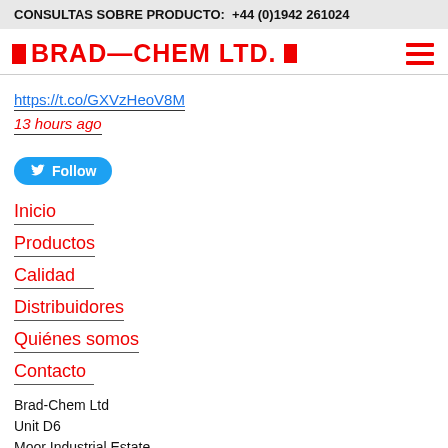CONSULTAS SOBRE PRODUCTO: +44 (0)1942 261024
BRAD—CHEM LTD.
https://t.co/GXVzHeoV8M
13 hours ago
Follow
Inicio
Productos
Calidad
Distribuidores
Quiénes somos
Contacto
Brad-Chem Ltd
Unit D6
Moor Industrial Estate...